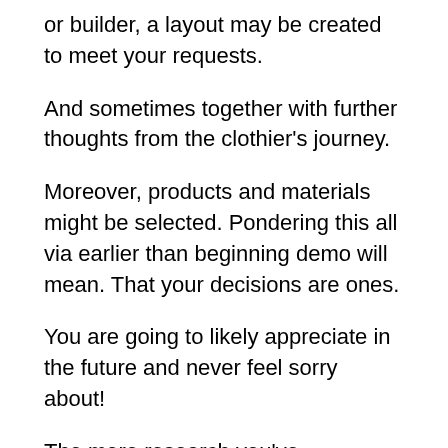or builder, a layout may be created to meet your requests.
And sometimes together with further thoughts from the clothier's journey.
Moreover, products and materials might be selected. Pondering this all via earlier than beginning demo will mean. That your decisions are ones.
You are going to likely appreciate in the future and never feel sorry about!
The more research you've accomplished before this phase to categorical your likes.
This will...